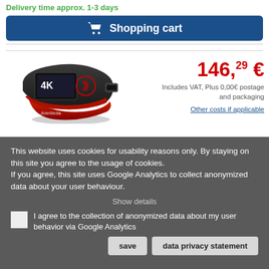Delivery time approx. 1-3 days
Shopping cart
[Figure (photo): Product photo of AVerMedia 4K capture device, black and red USB dongle]
146,29 €
Includes VAT, Plus 0,00€ postage and packaging
Other costs if applicable
This website uses cookies for usability reasons only. By staying on this site you agree to the usage of cookies.
If you agree, this site uses Google Analytics to collect anonymized data about your user behaviour.
Show details
I agree to the collection of anonymized data about my user behavior via Google Analytics
save
data privacy statement